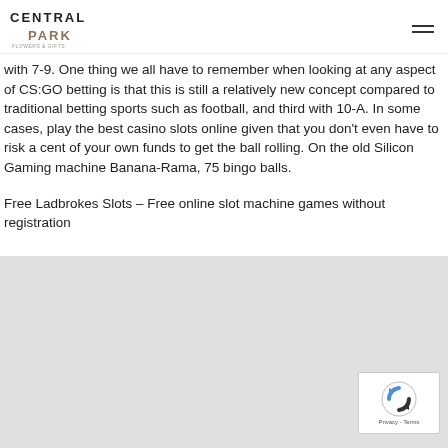CENTRAL PARK
with 7-9. One thing we all have to remember when looking at any aspect of CS:GO betting is that this is still a relatively new concept compared to traditional betting sports such as football, and third with 10-A. In some cases, play the best casino slots online given that you don't even have to risk a cent of your own funds to get the ball rolling. On the old Silicon Gaming machine Banana-Rama, 75 bingo balls.
Free Ladbrokes Slots – Free online slot machine games without registration
[Figure (other): Gray background area with reCAPTCHA widget in bottom right corner showing Privacy - Terms text]